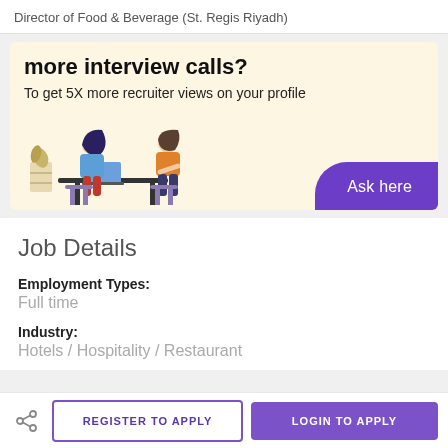Director of Food & Beverage (St. Regis Riyadh)
[Figure (illustration): Promotional banner with cream/beige background. Text reads 'more interview calls?' and 'To get 5X more recruiter views on your profile'. Shows illustration of two people at a desk in an interview setting. Purple 'Ask here' button on bottom right.]
Job Details
Employment Types:
Full time
Industry:
Hotels / Hospitality / Restaurant